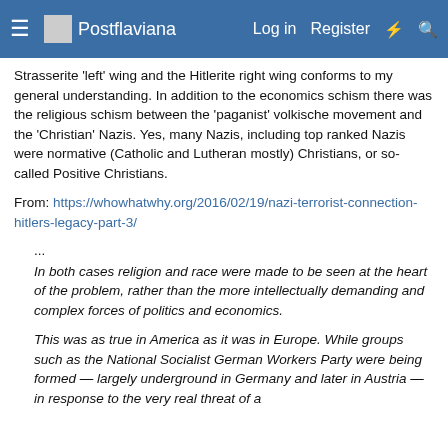≡  Postflaviana    Log in   Register   ⚡   🔍
Strasserite 'left' wing and the Hitlerite right wing conforms to my general understanding. In addition to the economics schism there was the religious schism between the 'paganist' volkische movement and the 'Christian' Nazis. Yes, many Nazis, including top ranked Nazis were normative (Catholic and Lutheran mostly) Christians, or so-called Positive Christians.
From: https://whowhatwhy.org/2016/02/19/nazi-terrorist-connection-hitlers-legacy-part-3/
...
In both cases religion and race were made to be seen at the heart of the problem, rather than the more intellectually demanding and complex forces of politics and economics.
This was as true in America as it was in Europe. While groups such as the National Socialist German Workers Party were being formed — largely underground in Germany and later in Austria — in response to the very real threat of a